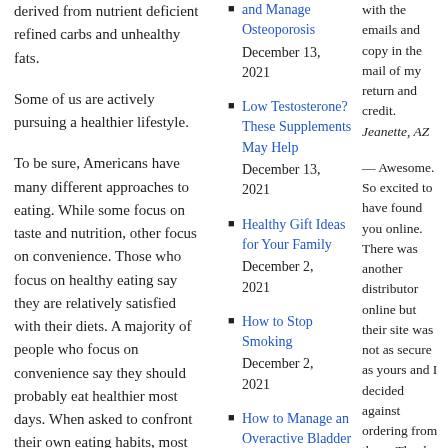derived from nutrient deficient refined carbs and unhealthy fats.
Some of us are actively pursuing a healthier lifestyle.
To be sure, Americans have many different approaches to eating. While some focus on taste and nutrition, other focus on convenience. Those who focus on healthy eating say they are relatively satisfied with their diets. A majority of people who focus on convenience say they should probably eat healthier most days. When asked to confront their own eating habits, most Americans admit to nutritional shortcomings. Yet, 72 percent of adults
and Manage Osteoporosis
Low Testosterone? These Supplements May Help
Healthy Gift Ideas for Your Family
How to Stop Smoking
How to Manage an Overactive Bladder
with the emails and copy in the mail of my return and credit. Jeanette, AZ
— Awesome. So excited to have found you online. There was another distributor online but their site was not as secure as yours and I decided against ordering from them. Thank you again and have a good day! Marlyse, PA